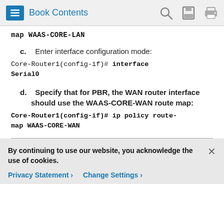Book Contents
map WAAS-CORE-LAN
c.  Enter interface configuration mode:
Core-Router1(config-if)# interface Serial0
d.  Specify that for PBR, the WAN router interface should use the WAAS-CORE-WAN route map:
Core-Router1(config-if)# ip policy route-map WAAS-CORE-WAN
By continuing to use our website, you acknowledge the use of cookies.
Privacy Statement > Change Settings >